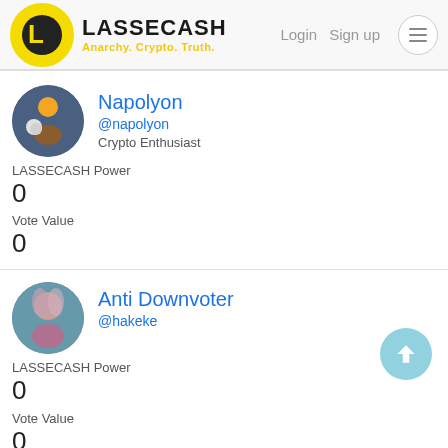LASSECASH — Anarchy. Crypto. Truth. | Login | Sign up
Napolyon
@napolyon
Crypto Enthusiast
LASSECASH Power
0
Vote Value
0
Anti Downvoter
@hakeke
LASSECASH Power
0
Vote Value
0
CinoTV Stakers